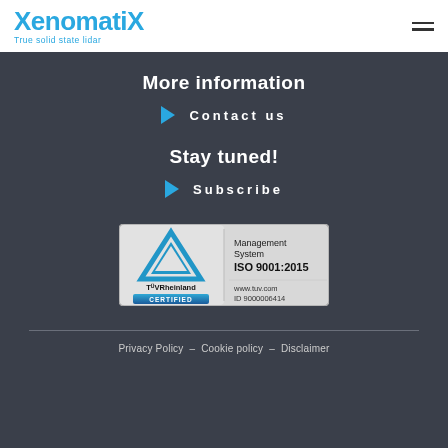XenomatiX - True solid state lidar
More information
Contact us
Stay tuned!
Subscribe
[Figure (logo): TÜVRheinland CERTIFIED - Management System ISO 9001:2015 - www.tuv.com ID 9000006414]
Privacy Policy - Cookie policy - Disclaimer